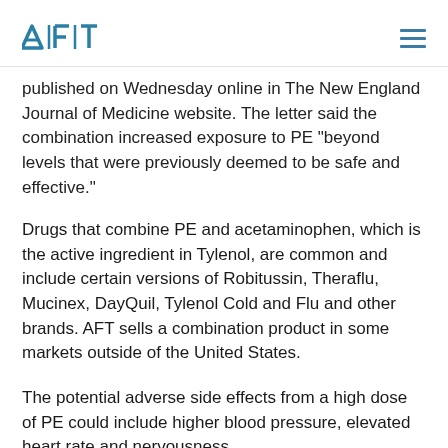AFT
published on Wednesday online in The New England Journal of Medicine website. The letter said the combination increased exposure to PE “beyond levels that were previously deemed to be safe and effective.”
Drugs that combine PE and acetaminophen, which is the active ingredient in Tylenol, are common and include certain versions of Robitussin, Theraflu, Mucinex, DayQuil, Tylenol Cold and Flu and other brands. AFT sells a combination product in some markets outside of the United States.
The potential adverse side effects from a high dose of PE could include higher blood pressure, elevated heart rate and nervousness.
The Food and Drug Administration said it was aware of the finding but suggested it was not a safety concern. It said in a